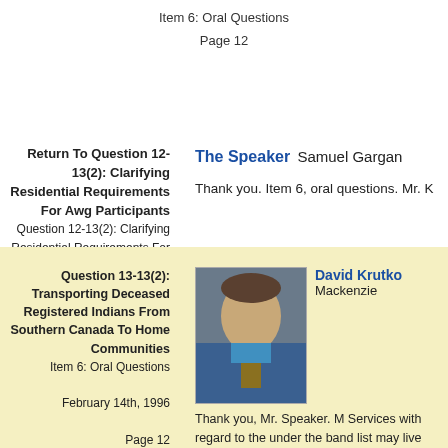Item 6: Oral Questions
Page 12
Return To Question 12-13(2): Clarifying Residential Requirements For Awg Participants
Question 12-13(2): Clarifying Residential Requirements For Awg Participants
Item 6: Oral Questions
Page 12
The Speaker  Samuel Gargan
Thank you. Item 6, oral questions. Mr. K
Question 13-13(2): Transporting Deceased Registered Indians From Southern Canada To Home Communities
Item 6: Oral Questions
February 14th, 1996
Page 12
David Krutko  Mackenzie
Thank you, Mr. Speaker. M Services with regard to the under the band list may live reasons or what not who m people back to their communities for bu especially in the Mackenzie Delta. A lot TB and other things in the past; in whic